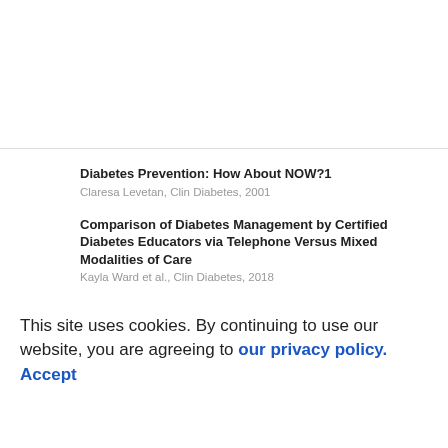Diabetes Prevention: How About NOW?1
Claresa Levetan, Clin Diabetes, 2001
Comparison of Diabetes Management by Certified Diabetes Educators via Telephone Versus Mixed Modalities of Care
Kayla Ward et al., Clin Diabetes, 2018
Optimizing mHealth Technologies in Real-World Clinical Practices
Pablo Mora et al., Clin Diabetes, 2019
This site uses cookies. By continuing to use our website, you are agreeing to our privacy policy.
Accept